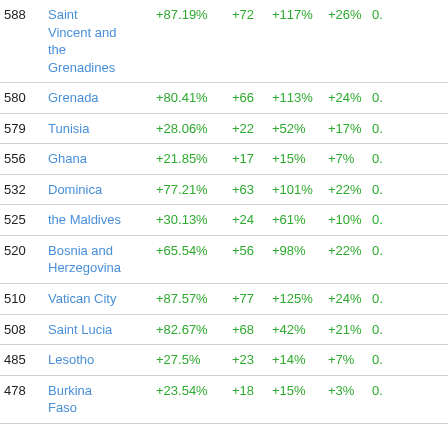|  | Country | Col3 | Col4 | Col5 | Col6 | Col7 |
| --- | --- | --- | --- | --- | --- | --- |
| 588 | Saint Vincent and the Grenadines | +87.19% | +72 | +117% | +26% | 0. |
| 580 | Grenada | +80.41% | +66 | +113% | +24% | 0. |
| 579 | Tunisia | +28.06% | +22 | +52% | +17% | 0. |
| 556 | Ghana | +21.85% | +17 | +15% | +7% | 0. |
| 532 | Dominica | +77.21% | +63 | +101% | +22% | 0. |
| 525 | the Maldives | +30.13% | +24 | +61% | +10% | 0. |
| 520 | Bosnia and Herzegovina | +65.54% | +56 | +98% | +22% | 0. |
| 510 | Vatican City | +87.57% | +77 | +125% | +24% | 0. |
| 508 | Saint Lucia | +82.67% | +68 | +42% | +21% | 0. |
| 485 | Lesotho | +27.5% | +23 | +14% | +7% | 0. |
| 478 | Burkina Faso | +23.54% | +18 | +15% | +3% | 0. |